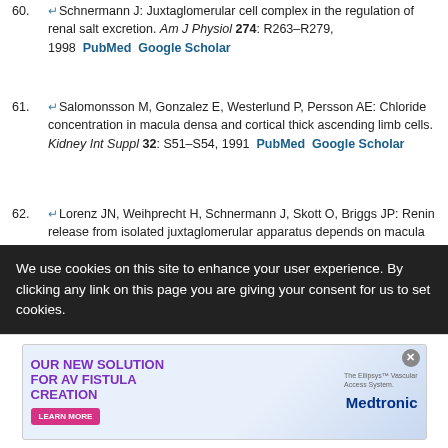60. Schnermann J: Juxtaglomerular cell complex in the regulation of renal salt excretion. Am J Physiol 274: R263–R279, 1998  PubMed  Google Scholar
61. Salomonsson M, Gonzalez E, Westerlund P, Persson AE: Chloride concentration in macula densa and cortical thick ascending limb cells. Kidney Int Suppl 32: S51–S54, 1991  PubMed  Google Scholar
62. Lorenz JN, Weihprecht H, Schnermann J, Skott O, Briggs JP: Renin release from isolated juxtaglomerular apparatus depends on macula densa chloride transport. Am J Physiol 260: F486–F493, 1991  PubMed  Google Scholar
63. Cheng HF, Wang JL, Zhang MZ, McKanna JA, Harris RC: Role of p38 in the regulation of renal cortical cyclooxygenase-2 expression by extracellular chloride. J Clin Invest 106: 681–688, 2000  CrossRef
We use cookies on this site to enhance your user experience. By clicking any link on this page you are giving your consent for us to set cookies.
[Figure (infographic): Medtronic advertisement for AV Fistula Creation solution - The Ellipsys Vascular Access System, with Learn More button]